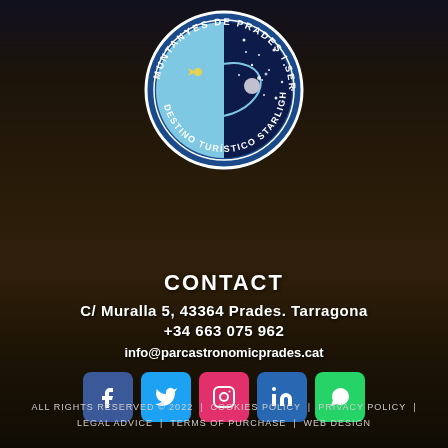[Figure (logo): Circular logo: Muntanyes de Prades i Serra de Montsant Destino Turístico Starlight, half day half night sky design with stars and comet]
CONTACT
C/ Muralla 5, 43364 Prades. Tarragona
+34 663 075 962
info@parcastronomicprades.cat
[Figure (infographic): Social media icons: Facebook, Twitter, Instagram, LinkedIn, WhatsApp]
ALL RIGHTS RESERVED © 2022 | COOKIES POLICY | PRIVACY POLICY | LEGAL ADVICE | TERMS OF PURCHASE | WEB DESIGN